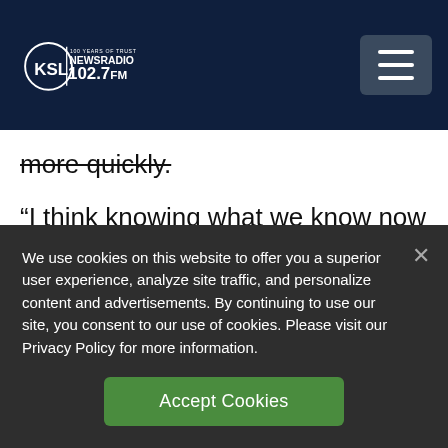[Figure (logo): KSL NewsRadio 102.7FM logo with '100 Years of Trust' text, circular emblem on dark navy header bar]
more quickly.
“I think knowing what we know now and looking back on it, it would have been better to move earlier,” Doggett said. “The President has made it clear that he doesn’t intend to
We use cookies on this website to offer you a superior user experience, analyze site traffic, and personalize content and advertisements. By continuing to use our site, you consent to our use of cookies. Please visit our Privacy Policy for more information.
Accept Cookies